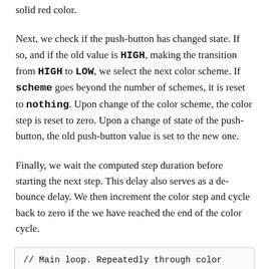solid red color.
Next, we check if the push-button has changed state. If so, and if the old value is HIGH, making the transition from HIGH to LOW, we select the next color scheme. If scheme goes beyond the number of schemes, it is reset to nothing. Upon change of the color scheme, the color step is reset to zero. Upon a change of state of the push-button, the old push-button value is set to the new one.
Finally, we wait the computed step duration before starting the next step. This delay also serves as a de-bounce delay. We then increment the color step and cycle back to zero if the we have reached the end of the color cycle.
// Main loop. Repeatedly through color